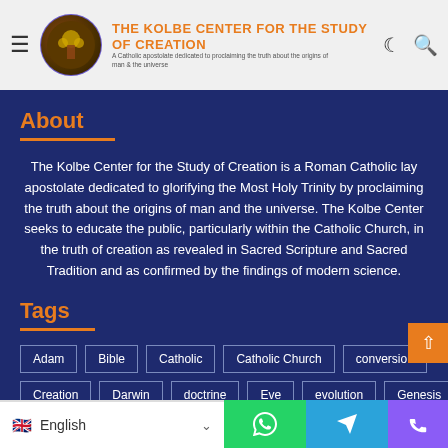THE KOLBE CENTER FOR THE STUDY OF CREATION — A Catholic apostolate dedicated to proclaiming the truth about the origins of man & the universe
About
The Kolbe Center for the Study of Creation is a Roman Catholic lay apostolate dedicated to glorifying the Most Holy Trinity by proclaiming the truth about the origins of man and the universe. The Kolbe Center seeks to educate the public, particularly within the Catholic Church, in the truth of creation as revealed in Sacred Scripture and Sacred Tradition and as confirmed by the findings of modern science.
Tags
Adam
Bible
Catholic
Catholic Church
conversion
Creation
Darwin
doctrine
Eve
evolution
Genesis
English | WhatsApp | Telegram | Phone